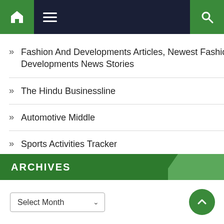Navigation bar with home, menu, and search icons
Fashion And Developments Articles, Newest Fashion Developments News Stories
The Hindu Businessline
Automotive Middle
Sports Activities Tracker
Bachelor Diploma In Creative Digital Marketing
ARCHIVES
Select Month